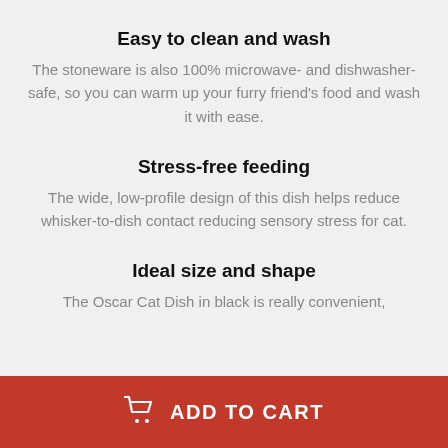Easy to clean and wash
The stoneware is also 100% microwave- and dishwasher-safe, so you can warm up your furry friend's food and wash it with ease.
Stress-free feeding
The wide, low-profile design of this dish helps reduce whisker-to-dish contact reducing sensory stress for cat.
Ideal size and shape
The Oscar Cat Dish in black is really convenient,
ADD TO CART